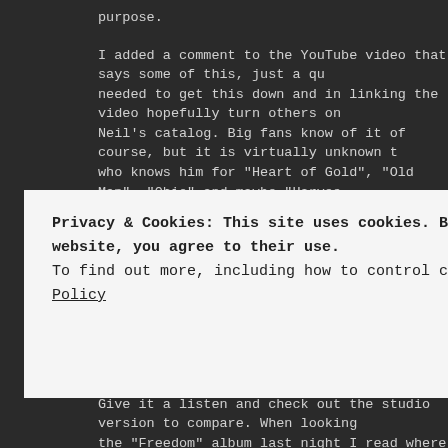purpose.
I added a comment to the YouTube video that says some of this, just a qu needed to get this down and in linking the video hopefully turn others on Neil’s catalog. Big fans know of it of course, but it is virtually unknown to who knows him for “Heart of Gold”, “Old Man”, “Ohio” and maybe “Harves
I am glad I found it again. I had it, or another upload of it, on a favorites p something when I changed some settings on the YouTube app a long tim eye out for it on Comedy Central SNL reruns and it was on some greatest show they had years ago, that was the last time I saw it on TV.
Give it a listen and check out the studio version to compare. When looking the "Freedom" album last night I read where some critics have cited this the definitive take on it. Mentions of Neil’s general concert performances site this song as a show highlight and how it showed Young at the top of agron, he was fierce in this era, when the then newly minted Bush Sr wa
Privacy & Cookies: This site uses cookies. By continuing to use this website, you agree to their use.
To find out more, including how to control cookies, see here: Cookie Policy
Close and accept